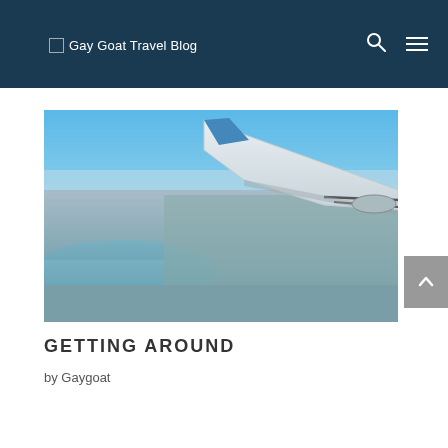Gay Goat Travel Blog
[Figure (photo): Aerial view from airplane window showing wing and cityscape below with bay/water visible, clear blue sky above]
GETTING AROUND
by Gaygoat